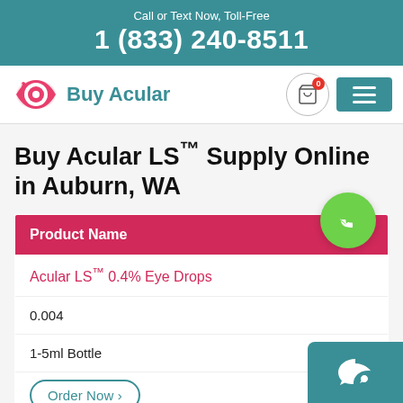Call or Text Now, Toll-Free
1 (833) 240-8511
[Figure (logo): Buy Acular eye logo with shopping cart icon and hamburger menu]
Buy Acular LS™ Supply Online in Auburn, WA
| Product Name |
| --- |
| Acular LS™ 0.4% Eye Drops |
| 0.004 |
| 1-5ml Bottle |
| Order Now > |